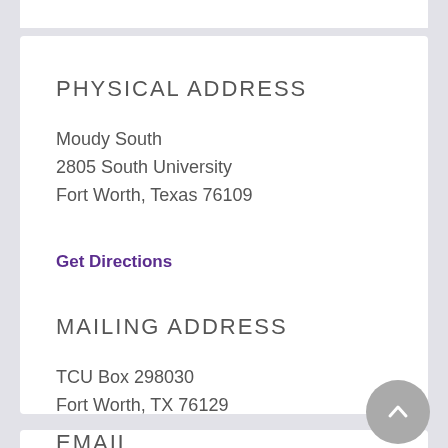PHYSICAL ADDRESS
Moudy South
2805 South University
Fort Worth, Texas 76109
Get Directions
MAILING ADDRESS
TCU Box 298030
Fort Worth, TX 76129
PHONE
817-257-7630
EMAIL